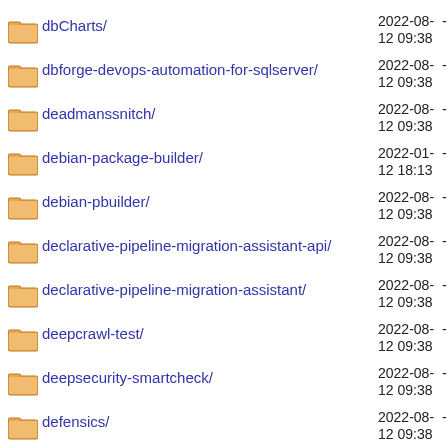dbCharts/	2022-08-12 09:38	-
dbforge-devops-automation-for-sqlserver/	2022-08-12 09:38	-
deadmanssnitch/	2022-08-12 09:38	-
debian-package-builder/	2022-01-12 18:13	-
debian-pbuilder/	2022-08-12 09:38	-
declarative-pipeline-migration-assistant-api/	2022-08-12 09:38	-
declarative-pipeline-migration-assistant/	2022-08-12 09:38	-
deepcrawl-test/	2022-08-12 09:38	-
deepsecurity-smartcheck/	2022-08-12 09:38	-
defensics/	2022-08-12 09:38	-
delete-log-plugin/	2022-08-12 09:38	-